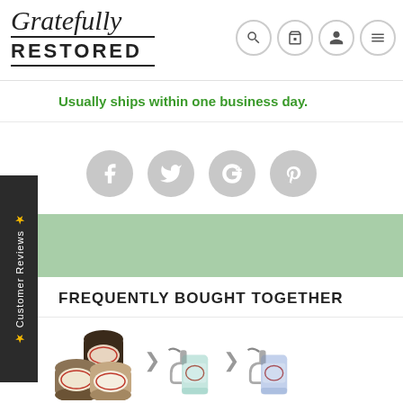[Figure (logo): Gratefully Restored logo with script and block lettering]
[Figure (screenshot): Navigation icons: search, cart, user, menu]
Usually ships within one business day.
[Figure (infographic): Social media share icons: Facebook, Twitter, Google+, Pinterest]
[Figure (screenshot): Customer Reviews side tab]
FREQUENTLY BOUGHT TOGETHER
[Figure (photo): Three product jars, a spray bottle with teal label, and a spray bottle with blue label shown as frequently bought together products]